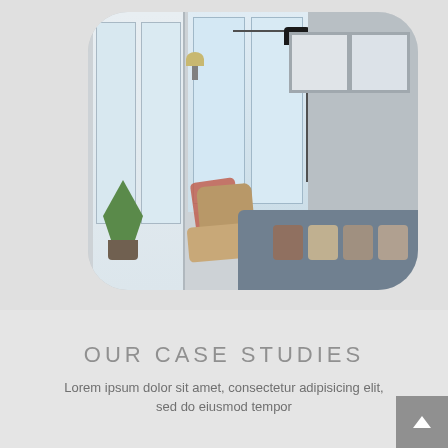[Figure (photo): Interior living room photo with rounded corners showing a modern apartment with large windows, a floor lamp, a rattan chair with a red/rust throw blanket, a grey sofa with decorative cushions, framed artwork on the wall, and a green plant.]
OUR CASE STUDIES
Lorem ipsum dolor sit amet, consectetur adipisicing elit, sed do eiusmod tempor